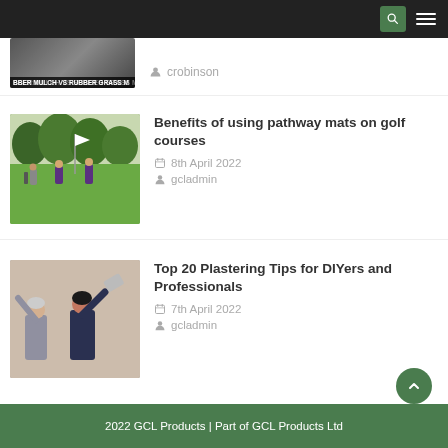Navigation bar with search and menu
[Figure (photo): Partially visible thumbnail showing rubber mulch vs rubber grass mat product image with label text 'BBER MULCH VS RUBBER GRASS M']
crobinson
[Figure (photo): Photo of golfers on a golf course green with a flag, surrounded by trees]
Benefits of using pathway mats on golf courses
8th April 2022
gcladmin
[Figure (photo): Photo of a woman and another person plastering a wall indoors]
Top 20 Plastering Tips for DIYers and Professionals
7th April 2022
gcladmin
2022 GCL Products | Part of GCL Products Ltd